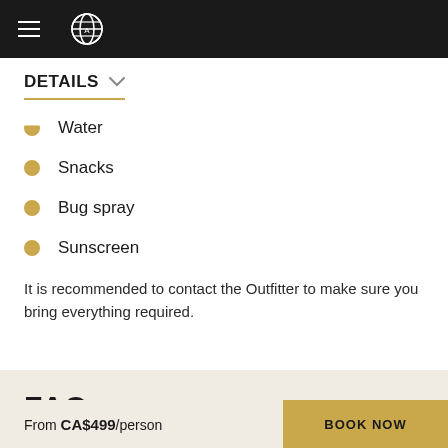Navigation bar with hamburger menu and globe logo
DETAILS
Water
Snacks
Bug spray
Sunscreen
It is recommended to contact the Outfitter to make sure you bring everything required.
FAQ
From CA$499/person   BOOK NOW